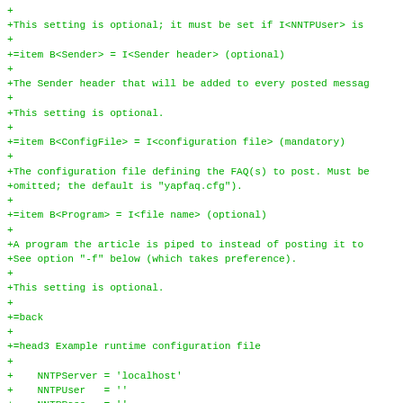+
+This setting is optional; it must be set if I<NNTPUser> is
+
+=item B<Sender> = I<Sender header> (optional)
+
+The Sender header that will be added to every posted messag
+
+This setting is optional.
+
+=item B<ConfigFile> = I<configuration file> (mandatory)
+
+The configuration file defining the FAQ(s) to post. Must be
+omitted; the default is "yapfaq.cfg").
+
+=item B<Program> = I<file name> (optional)
+
+A program the article is piped to instead of posting it to
+See option "-f" below (which takes preference).
+
+This setting is optional.
+
+=back
+
+=head3 Example runtime configuration file
+
+    NNTPServer = 'localhost'
+    NNTPUser   = ''
+    NNTPPass   = ''
+    Sender     = ''
+    ConfigFile = 'yapfaq.cfg'
+    Program    = ''
+